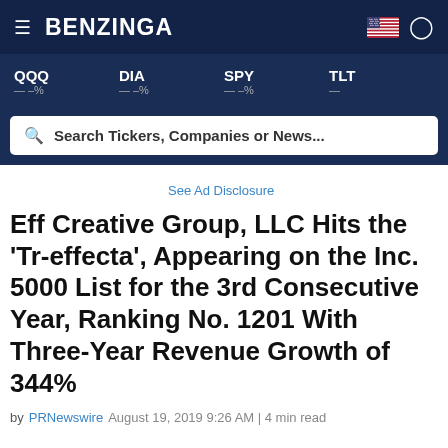BENZINGA
QQQ — –% | DIA — –% | SPY — –% | TLT —
Search Tickers, Companies or News...
See Ad Disclosure
Eff Creative Group, LLC Hits the 'Tr-effecta', Appearing on the Inc. 5000 List for the 3rd Consecutive Year, Ranking No. 1201 With Three-Year Revenue Growth of 344%
by PRNewswire   August 19, 2019 9:26 AM | 4 min read